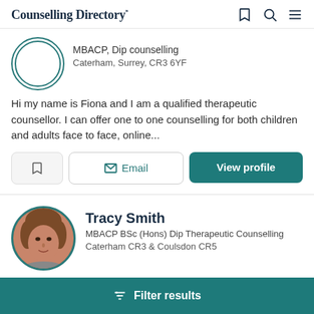Counselling Directory
MBACP, Dip counselling
Caterham, Surrey, CR3 6YF
Hi my name is Fiona and I am a qualified therapeutic counsellor. I can offer one to one counselling for both children and adults face to face, online...
Email
View profile
Tracy Smith
MBACP BSc (Hons) Dip Therapeutic Counselling
Caterham CR3 & Coulsdon CR5
Filter results